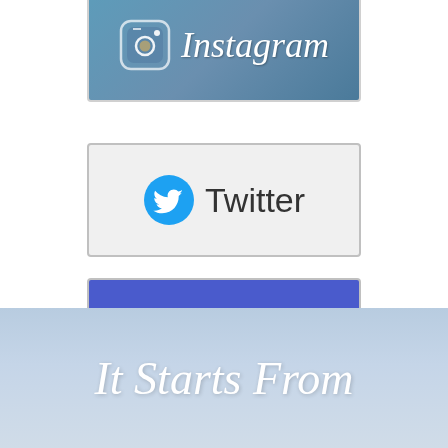[Figure (logo): Instagram logo with camera icon and italic text 'Instagram' on blue-grey background]
[Figure (logo): Twitter logo with blue bird icon and text 'Twitter' on light grey background]
[Figure (logo): Pandora logo with text 'pandora' in white on blue background]
[Figure (logo): MSN logo with butterfly icon and text 'msn' on light grey background]
It Starts From